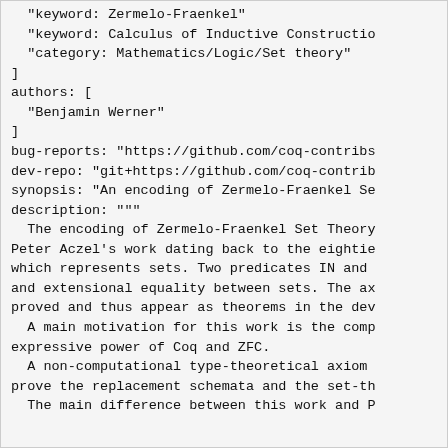"keyword: Zermelo-Fraenkel"
  "keyword: Calculus of Inductive Constructio
  "category: Mathematics/Logic/Set theory"
]
authors: [
  "Benjamin Werner"
]
bug-reports: "https://github.com/coq-contribs
dev-repo: "git+https://github.com/coq-contrib
synopsis: "An encoding of Zermelo-Fraenkel Se
description: """
  The encoding of Zermelo-Fraenkel Set Theory
Peter Aczel's work dating back to the eightie
which represents sets. Two predicates IN and
and extensional equality between sets. The ax
proved and thus appear as theorems in the dev
  A main motivation for this work is the comp
expressive power of Coq and ZFC.
  A non-computational type-theoretical axiom
prove the replacement schemata and the set-th
  The main difference between this work and P